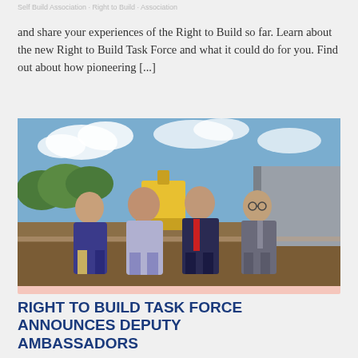and share your experiences of the Right to Build so far. Learn about the new Right to Build Task Force and what it could do for you. Find out about how pioneering [...]
[Figure (photo): Four men standing together outdoors at a construction site, smiling for a group photo. Heavy construction equipment and a large grey building are visible in the background.]
RIGHT TO BUILD TASK FORCE ANNOUNCES DEPUTY AMBASSADORS
Three new experts join NaCSBA's expert team to aid the growth of Custom and Self Build housing in the UK The National Custom and Self Build Association's (NaCSBA)